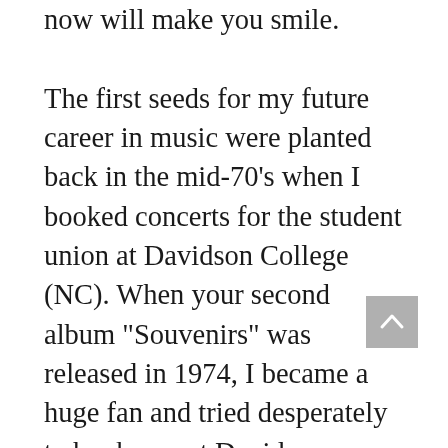now will make you smile.

The first seeds for my future career in music were planted back in the mid-70's when I booked concerts for the student union at Davidson College (NC). When your second album "Souvenirs" was released in 1974, I became a huge fan and tried desperately to book you at Davidson. Unfortunately for us but happily for you, your career exploded with the